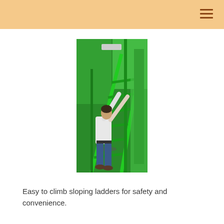[Figure (photo): A man climbing a green sloping ladder/staircase structure. The ladder has green metal rails and rungs, angled at a gentle slope for easy climbing. The person is wearing jeans and a light-colored shirt, reaching upward while ascending the green ladder.]
Easy to climb sloping ladders for safety and convenience.